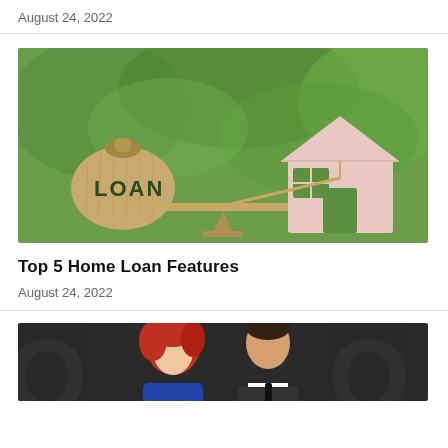August 24, 2022
[Figure (photo): A burlap money bag labeled LOAN on the left side of a balance scale, and a small pink cardboard house model on the right side, with a green blurred background.]
Top 5 Home Loan Features
August 24, 2022
[Figure (photo): Partial photo of two people, a woman with red hair and a man in a suit with a tie, in front of large letters, cropped at bottom of page.]